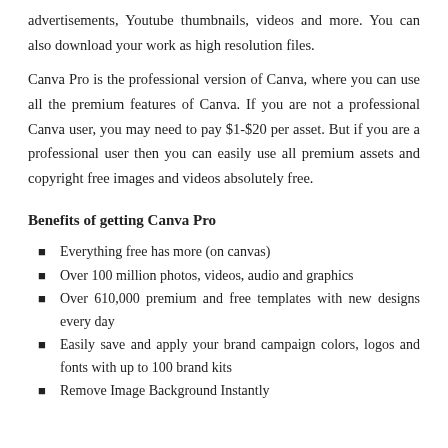advertisements, Youtube thumbnails, videos and more. You can also download your work as high resolution files.
Canva Pro is the professional version of Canva, where you can use all the premium features of Canva. If you are not a professional Canva user, you may need to pay $1-$20 per asset. But if you are a professional user then you can easily use all premium assets and copyright free images and videos absolutely free.
Benefits of getting Canva Pro
Everything free has more (on canvas)
Over 100 million photos, videos, audio and graphics
Over 610,000 premium and free templates with new designs every day
Easily save and apply your brand campaign colors, logos and fonts with up to 100 brand kits
Remove Image Background Instantly